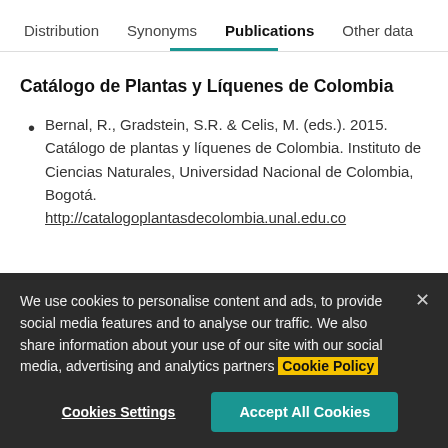Distribution  Synonyms  Publications  Other data
Catálogo de Plantas y Líquenes de Colombia
Bernal, R., Gradstein, S.R. & Celis, M. (eds.). 2015. Catálogo de plantas y líquenes de Colombia. Instituto de Ciencias Naturales, Universidad Nacional de Colombia, Bogotá. http://catalogoplantasdecolombia.unal.edu.co
We use cookies to personalise content and ads, to provide social media features and to analyse our traffic. We also share information about your use of our site with our social media, advertising and analytics partners Cookie Policy
Cookies Settings  Accept All Cookies